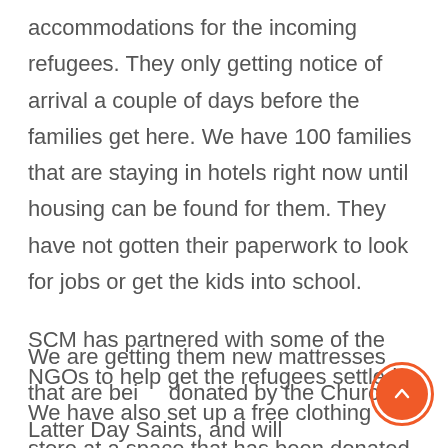accommodations for the incoming refugees. They only getting notice of arrival a couple of days before the families get here. We have 100 families that are staying in hotels right now until housing can be found for them. They have not gotten their paperwork to look for jobs or get the kids into school.
SCM has partnered with some of the NGOs to help get the refugees settled. We have also set up a free clothing store at a space that has been donated by a church in Renton. It is open on Fridays and Saturday every week and families come in and get what they need – warm clothing, essential hygiene products, household supplies, furniture, and other needed items. We are getting them new mattresses that are being donated by the Church of Latter Day Saints, and will